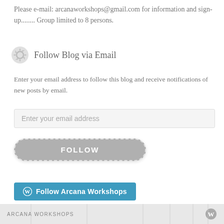Please e-mail: arcanaworkshops@gmail.com for information and sign-up........ Group limited to 8 persons.
Follow Blog via Email
Enter your email address to follow this blog and receive notifications of new posts by email.
Enter your email address
FOLLOW
Follow Arcana Workshops
ARCANA WORKSHOPS